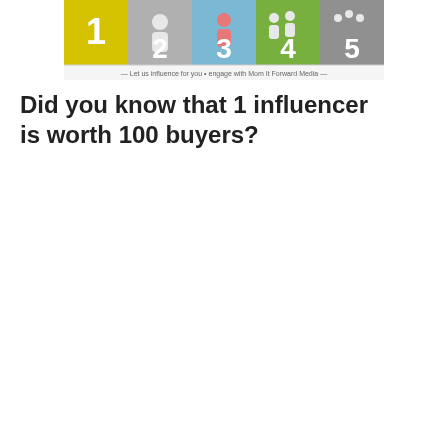[Figure (infographic): A horizontal banner graphic showing 5 numbered steps with colorful icons (yellow 1, gray 2 with figure, blue 3 with figure, green 4 with figures, gray 5), with text at bottom reading 'Let us influence for you • engage with Mom It Forward Media']
Did you know that 1 influencer is worth 100 buyers?